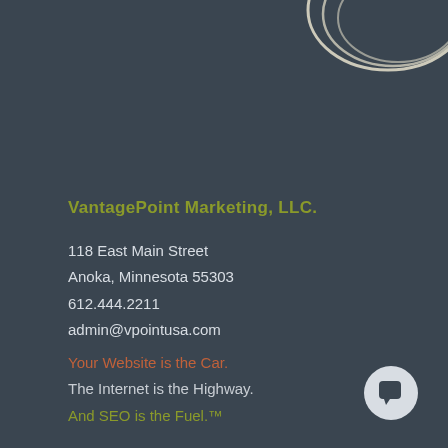[Figure (illustration): Decorative circular swirl lines in cream/off-white color, partially visible at top-right corner of the page]
VantagePoint Marketing, LLC.
118 East Main Street
Anoka, Minnesota 55303
612.444.2211
admin@vpointusa.com
Your Website is the Car.
The Internet is the Highway.
And SEO is the Fuel.™
[Figure (illustration): Chat bubble icon in light gray, circular background, bottom-right corner]